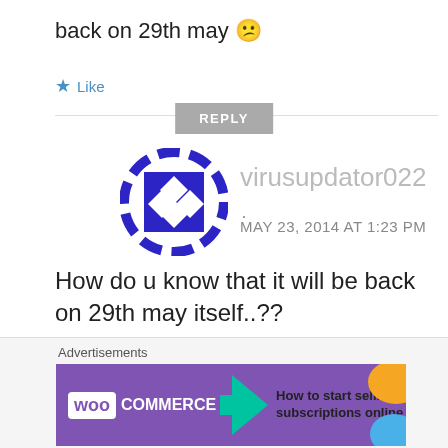back on 29th may 😕
★ Like
REPLY
virusupdator022
MAY 23, 2014 AT 1:23 PM
How do u know that it will be back on 29th may itself..??
[Figure (logo): WooCommerce advertisement banner with purple background, WooCommerce logo, teal arrow, and text 'How to start selling subscriptions online']
Advertisements